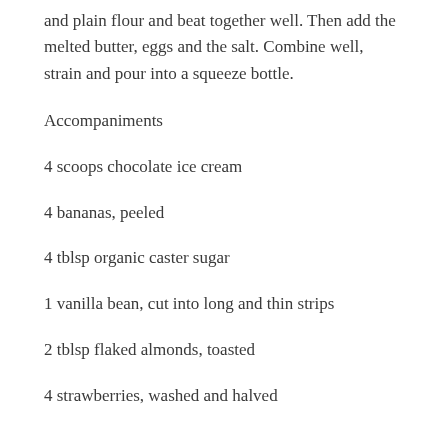and plain flour and beat together well. Then add the melted butter, eggs and the salt. Combine well, strain and pour into a squeeze bottle.
Accompaniments
4 scoops chocolate ice cream
4 bananas, peeled
4 tblsp organic caster sugar
1 vanilla bean, cut into long and thin strips
2 tblsp flaked almonds, toasted
4 strawberries, washed and halved